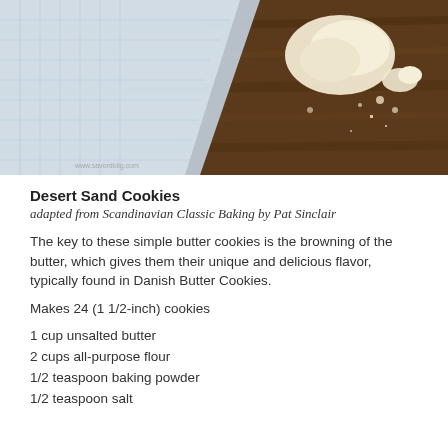[Figure (photo): Close-up photo of cookie dough chunks on a dark wooden surface with a light fabric/paper napkin, showing sandy/crumbly butter cookie texture]
Desert Sand Cookies
adapted from Scandinavian Classic Baking by Pat Sinclair
The key to these simple butter cookies is the browning of the butter, which gives them their unique and delicious flavor, typically found in Danish Butter Cookies.
Makes 24 (1 1/2-inch) cookies
1 cup unsalted butter
2 cups all-purpose flour
1/2 teaspoon baking powder
1/2 teaspoon salt